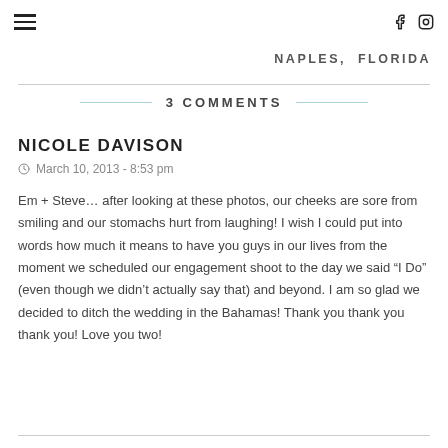≡  f  Instagram
NAPLES, FLORIDA
3 COMMENTS
NICOLE DAVISON
March 10, 2013 - 8:53 pm
Em + Steve… after looking at these photos, our cheeks are sore from smiling and our stomachs hurt from laughing! I wish I could put into words how much it means to have you guys in our lives from the moment we scheduled our engagement shoot to the day we said "I Do" (even though we didn't actually say that) and beyond. I am so glad we decided to ditch the wedding in the Bahamas! Thank you thank you thank you! Love you two!